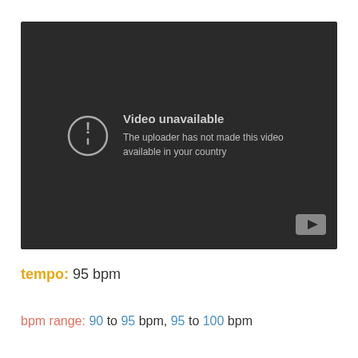[Figure (screenshot): YouTube video unavailable error screen with dark background. Shows a warning circle icon with exclamation mark, text 'Video unavailable' and 'The uploader has not made this video available in your country'. YouTube play button logo in bottom right corner.]
tempo: 95 bpm
bpm range: 90 to 95 bpm, 95 to 100 bpm